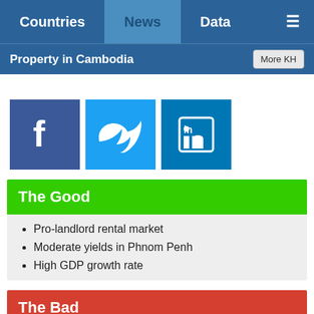Countries  News  Data  ☰
Property in Cambodia
[Figure (illustration): Social media icons: Facebook, Twitter, LinkedIn]
The Good
Pro-landlord rental market
Moderate yields in Phnom Penh
High GDP growth rate
The Bad
Moderate rental income tax rate
Corrupt, autocratic govt